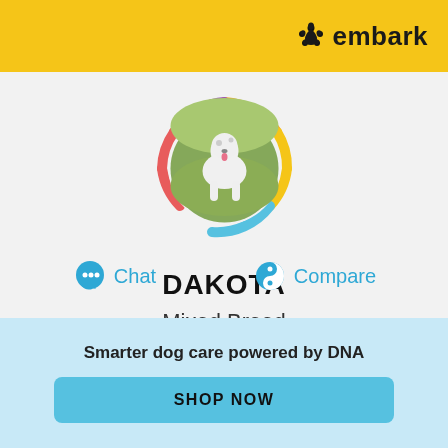[Figure (logo): Embark logo with yellow header background, paw print icon and bold 'embark' text]
[Figure (other): Circular donut ring with breed percentage color segments (orange, yellow, red, light blue, purple) surrounding a circular photo of a white spotted dog (Dakota) running outdoors]
DAKOTA
Mixed Breed
Chat
Compare
Smarter dog care powered by DNA
SHOP NOW